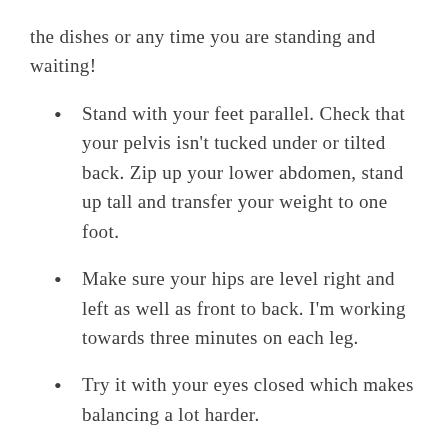the dishes or any time you are standing and waiting!
Stand with your feet parallel. Check that your pelvis isn’t tucked under or tilted back. Zip up your lower abdomen, stand up tall and transfer your weight to one foot.
Make sure your hips are level right and left as well as front to back. I’m working towards three minutes on each leg.
Try it with your eyes closed which makes balancing a lot harder.